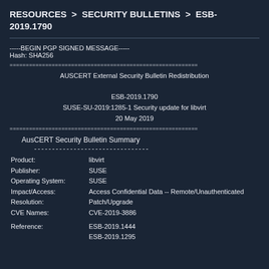RESOURCES > SECURITY BULLETINS > ESB-2019.1790
-----BEGIN PGP SIGNED MESSAGE-----
Hash: SHA256
==============================================================
         AUSCERT External Security Bulletin Redistribution

                        ESB-2019.1790
         SUSE-SU-2019:1285-1 Security update for libvirt
                        20 May 2019
==============================================================
AusCERT Security Bulletin Summary
Product:           libvirt
Publisher:         SUSE
Operating System:  SUSE
Impact/Access:     Access Confidential Data -- Remote/Unauthenticated
Resolution:        Patch/Upgrade
CVE Names:         CVE-2019-3886
Reference:         ESB-2019.1444
                   ESB-2019.1295